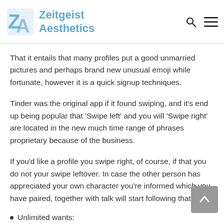Zeitgeist Aesthetics
Throwing out of your own Tinder profession is simple in this year. Your and also have the option to done a... it is not necessary.
That it entails that many profiles put a good unmarried pictures and perhaps brand new unusual emoji while fortunate, however it is a quick signup techniques.
Tinder was the original app if it found swiping, and it’s end up being popular that ‘Swipe left’ and you will ‘Swipe right’ are located in the new much time range of phrases proprietary because of the business.
If you’d like a profile you swipe right, of course, if that you do not your swipe leftover. In case the other person has appreciated your own character you’re informed which you have paired, together with talk will start following that.
Unlimited wants: